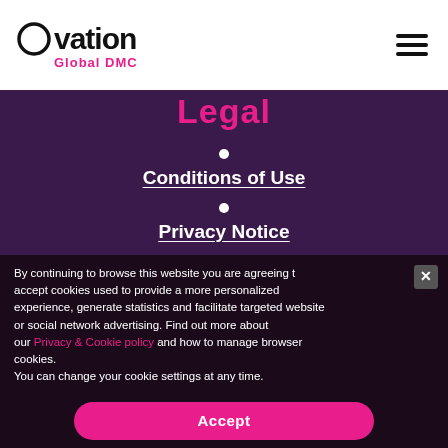[Figure (logo): Ovation Global DMC logo — circle with letter O, bold black Ovation text, pink Global DMC subtitle]
Conditions of Use
Privacy Notice
Ethic Box
By continuing to browse this website you are agreeing to accept cookies used to provide a more personalized experience, generate statistics and facilitate targeted website or social network advertising. Find out more about our Privacy & Cookie policy and how to manage browser cookies. You can change your cookie settings at any time.
Accept